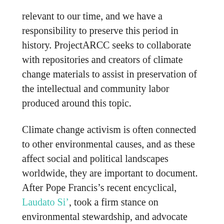relevant to our time, and we have a responsibility to preserve this period in history. ProjectARCC seeks to collaborate with repositories and creators of climate change materials to assist in preservation of the intellectual and community labor produced around this topic.
Climate change activism is often connected to other environmental causes, and as these affect social and political landscapes worldwide, they are important to document. After Pope Francis’s recent encyclical, Laudato Si’, took a firm stance on environmental stewardship, and advocate Neeshad Vs published “How Islamic Faith Supports Pope Francis’ Climate Change Encyclical,” it is clear that climate change activism is now part of religious landscapes as well. Archivists need to